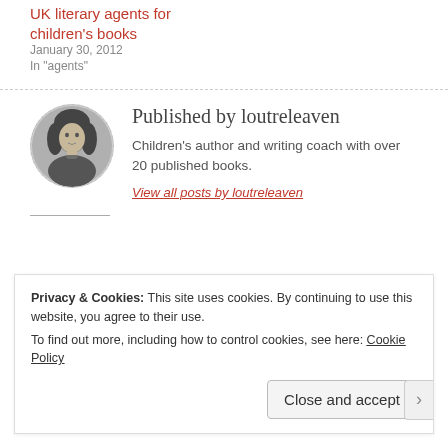UK literary agents for children's books
January 30, 2012
In "agents"
Published by loutreleaven
[Figure (photo): Circular avatar photo of loutreleaven, a woman with dark curly hair, in black and white]
Children's author and writing coach with over 20 published books.
View all posts by loutreleaven
Privacy & Cookies: This site uses cookies. By continuing to use this website, you agree to their use.
To find out more, including how to control cookies, see here: Cookie Policy
Close and accept